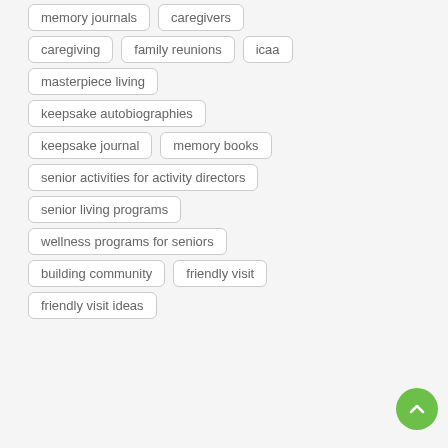memory journals
caregivers
caregiving
family reunions
icaa
masterpiece living
keepsake autobiographies
keepsake journal
memory books
senior activities for activity directors
senior living programs
wellness programs for seniors
building community
friendly visit
friendly visit ideas